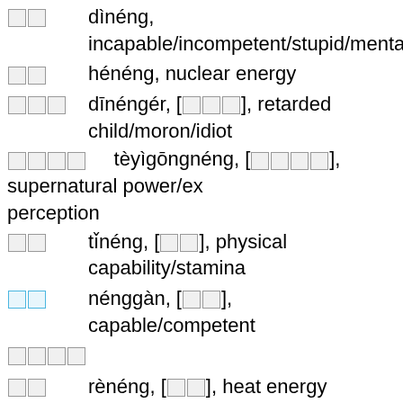□□ dìnéng, incapable/incompetent/stupid/mental...
□□ hénéng, nuclear energy
□□□ dīnéngér, [□□□], retarded child/moron/idiot
□□□□ tèyìgōngnéng, [□□□□], supernatural power/extrasensory perception
□□ tǐnéng, [□□], physical capability/stamina
□□ nénggàn, [□□], capable/competent
□□□□
□□ rènéng, [□□], heat energy
□□ yìnéng, [□□], different function
□□
□□ néngrén, capable person/Homo habilis, extinct upright East African hominid
□□ gāonéng, high energy
□□□□ àimònéngzhù, [□□□□], unable to help however would like to (idiom); Although we sympathize, t...
□□ chěngnéng, to show off one's ability/to boast a...